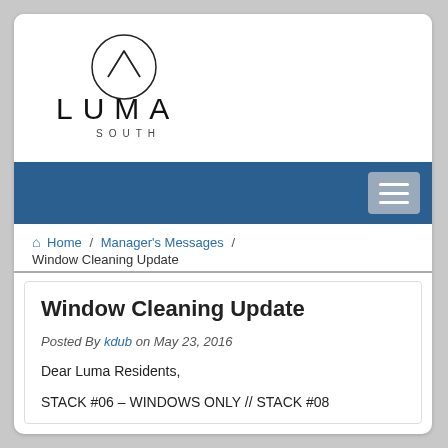[Figure (logo): Luma South logo: circular icon with a stylized mountain/chevron shape above, and the text 'LUMA' in wide-spaced capitals with 'SOUTH' in small caps below]
[Figure (other): Dark blue navigation bar with a hamburger menu button (three horizontal lines) on the right side]
Home / Manager's Messages / Window Cleaning Update
Window Cleaning Update
Posted By kdub on May 23, 2016
Dear Luma Residents,
STACK #06 – WINDOWS ONLY // STACK #08